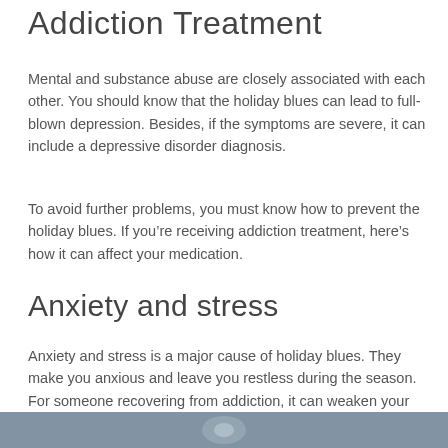Addiction Treatment
Mental and substance abuse are closely associated with each other. You should know that the holiday blues can lead to full-blown depression. Besides, if the symptoms are severe, it can include a depressive disorder diagnosis.
To avoid further problems, you must know how to prevent the holiday blues. If you’re receiving addiction treatment, here’s how it can affect your medication.
Anxiety and stress
Anxiety and stress is a major cause of holiday blues. They make you anxious and leave you restless during the season. For someone recovering from addiction, it can weaken your resolve, resulting in a lapse.
[Figure (photo): Partial view of an image at the bottom of the page, appears to be a dark blue/grey colored photo, partially visible]